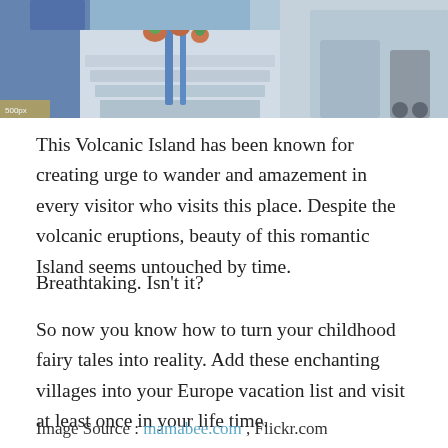[Figure (photo): Colorful photo of a Santorini-style village alley with white-washed stone steps, blue railings, potted plants with orange flowers, and whitewashed walls, HDR photography style]
This Volcanic Island has been known for creating urge to wander and amazement in every visitor who visits this place. Despite the volcanic eruptions, beauty of this romantic Island seems untouched by time.
Breathtaking. Isn't it?
So now you know how to turn your childhood fairy tales into reality. Add these enchanting villages into your Europe vacation list and visit at least once in your life time.
Image Source : mamabee.com , Flickr.com